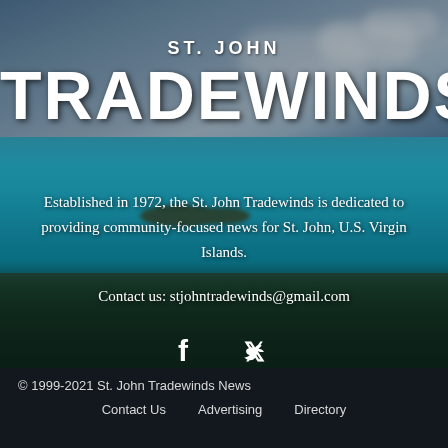[Figure (photo): Aerial view of St. John, U.S. Virgin Islands showing turquoise waters, tropical islands, sandy beach, and lush green hillside trees under a partly cloudy sky.]
ST. JOHN TRADEWINDS
Established in 1972, the St. John Tradewinds is dedicated to providing community-focused news for St. John, U.S. Virgin Islands.
Contact us: stjohntradewinds@gmail.com
[Figure (illustration): Facebook and Twitter social media icons in white]
© 1999-2021 St. John Tradewinds News   Contact Us   Advertising   Directory